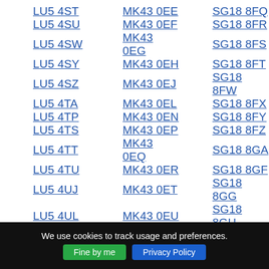LU5 4ST   MK43 0EE   SG18 8FQ
LU5 4SU   MK43 0EF   SG18 8FR
LU5 4SW   MK43 0EG   SG18 8FS
LU5 4SY   MK43 0EH   SG18 8FT
LU5 4SZ   MK43 0EJ   SG18 8FW
LU5 4TA   MK43 0EL   SG18 8FX
LU5 4TP   MK43 0EN   SG18 8FY
LU5 4TS   MK43 0EP   SG18 8FZ
LU5 4TT   MK43 0EQ   SG18 8GA
LU5 4TU   MK43 0ER   SG18 8GF
LU5 4UJ   MK43 0ET   SG18 8GG
LU5 4UL   MK43 0EU   SG18 8GH
We use cookies to track usage and preferences. Fine by me  Privacy Policy